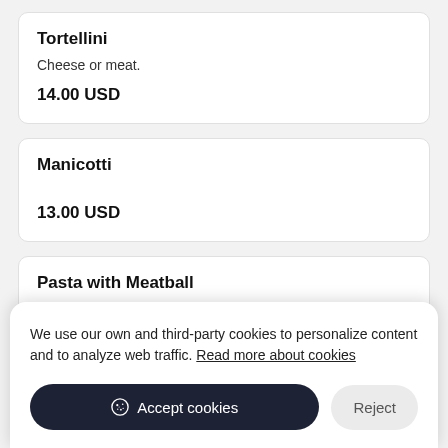Tortellini
Cheese or meat.
14.00 USD
Manicotti
13.00 USD
Pasta with Meatball
We use our own and third-party cookies to personalize content and to analyze web traffic. Read more about cookies
Accept cookies
Reject